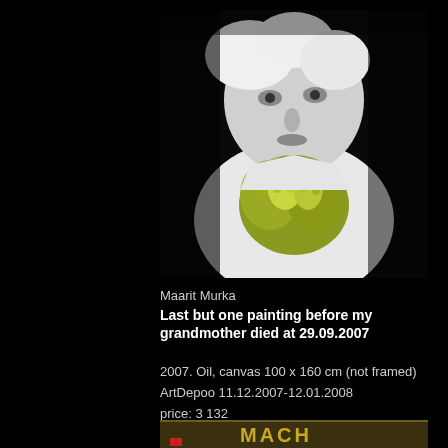[Figure (photo): Painting of an elderly person with white hair, clasping hands together in a golden/green metallic color, wearing a white shirt, in high-contrast black and white with gold/green highlights]
Maarit Murka
Last but one painting before my grandmother died at 29.09.2007
2007. Oil, canvas 100 x 160 cm (not framed)
ArtDepoo 11.12.2007-12.01.2008
price: 3 132
[Figure (photo): Partial view of second artwork at bottom of page, showing text fragment 'MACH' visible]